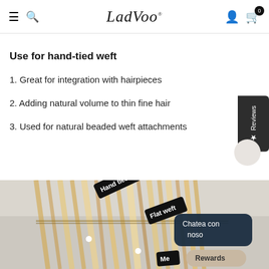LadVoo — navigation header with hamburger menu, search, logo, user icon, cart (0)
Use for hand-tied weft
1. Great for integration with hairpieces
2. Adding natural volume to thin fine hair
3. Used for natural beaded weft attachments
[Figure (photo): Photo of blonde hair extensions with black label tags reading 'Hand tied', 'Flat weft', and 'Me', laid on a light grey background. White navigation dots visible. Chat overlay saying 'Chatea con noso' and a Rewards button.]